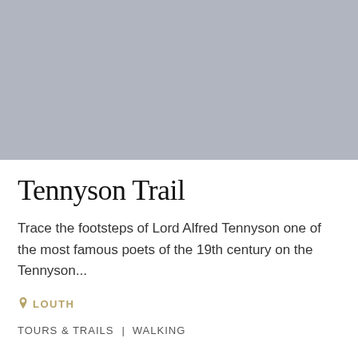[Figure (photo): Gray placeholder image area representing a landscape or trail photograph]
Tennyson Trail
Trace the footsteps of Lord Alfred Tennyson one of the most famous poets of the 19th century on the Tennyson...
LOUTH
TOURS & TRAILS  |  WALKING